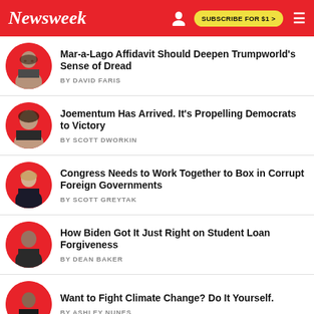Newsweek | SUBSCRIBE FOR $1 >
Mar-a-Lago Affidavit Should Deepen Trumpworld's Sense of Dread | BY DAVID FARIS
Joementum Has Arrived. It's Propelling Democrats to Victory | BY SCOTT DWORKIN
Congress Needs to Work Together to Box in Corrupt Foreign Governments | BY SCOTT GREYTAK
How Biden Got It Just Right on Student Loan Forgiveness | BY DEAN BAKER
Want to Fight Climate Change? Do It Yourself. | BY ASHLEY NUNES